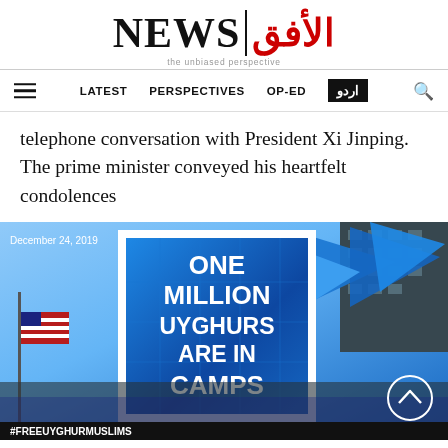NEWS | الأفق — the unbiased perspective
LATEST  PERSPECTIVES  OP-ED  اردو
telephone conversation with President Xi Jinping. The prime minister conveyed his heartfelt condolences
[Figure (photo): Protest scene dated December 24, 2019 showing a sign reading ONE MILLION UYGHURS ARE IN CAMPS with blue flags and crowd, hashtag #FREEUYGHURMUSLIMS at bottom]